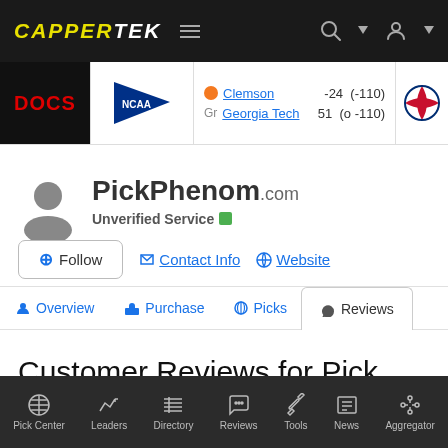CAPPERTEK
[Figure (screenshot): Scores strip showing DOCS, NCAA logo, Clemson -24 (-110), Georgia Tech 51 (o -110), MLB logo]
PickPhenom.com
Unverified Service
+ Follow | Contact Info | Website
Overview | Purchase | Picks | Reviews
Customer Reviews for Pick Phenom (Max Stark)
Pick Center | Leaders | Directory | Reviews | Tools | News | Aggregator